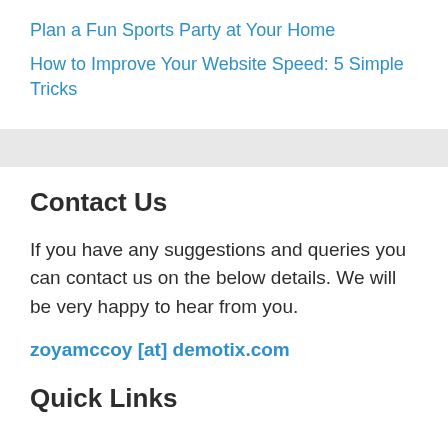Plan a Fun Sports Party at Your Home
How to Improve Your Website Speed: 5 Simple Tricks
Contact Us
If you have any suggestions and queries you can contact us on the below details. We will be very happy to hear from you.
zoyamccoy [at] demotix.com
Quick Links